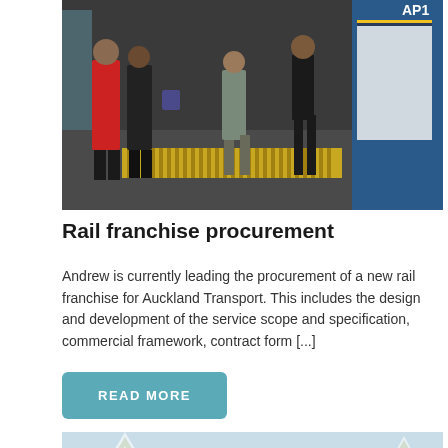[Figure (photo): People boarding or exiting a train at a platform, showing commuters at an Auckland Transport train station. A yellow-striped tactile strip is visible on the platform edge. A blue and yellow train is visible on the right.]
Rail franchise procurement
Andrew is currently leading the procurement of a new rail franchise for Auckland Transport. This includes the design and development of the service scope and specification, commercial framework, contract form [...]
READ MORE
[Figure (photo): Partial view of a winter scene with a snow-dusted tree and blue sky, cropped at bottom of page.]